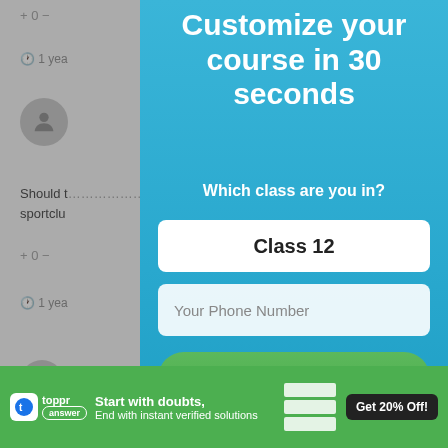[Figure (screenshot): Background website content showing voting buttons, clock icons, user avatars, link icons, and partial text about sportclub]
Customize your course in 30 seconds
Which class are you in?
Class 12
Your Phone Number
START LEARNING NOW
[Figure (screenshot): Bottom green advertisement banner for Toppr answer app with text: Start with doubts, End with instant verified solutions. Get 20% Off button on right.]